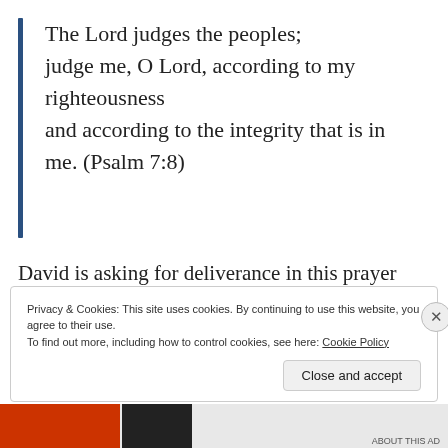The Lord judges the peoples; judge me, O Lord, according to my righteousness and according to the integrity that is in me. (Psalm 7:8)
David is asking for deliverance in this prayer (see Psalm 7:1), and he cites his integrity as the basis on which God should act.
Privacy & Cookies: This site uses cookies. By continuing to use this website, you agree to their use. To find out more, including how to control cookies, see here: Cookie Policy